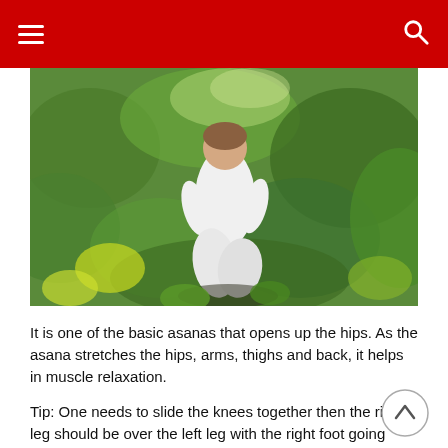Navigation bar with hamburger menu and search icon
[Figure (photo): Person in white clothing performing a yoga asana (kneeling/squatting pose) outdoors among green foliage and plants in bright sunlight]
It is one of the basic asanas that opens up the hips. As the asana stretches the hips, arms, thighs and back, it helps in muscle relaxation.
Tip: One needs to slide the knees together then the right leg should be over the left leg with the right foot going under the left buttock.